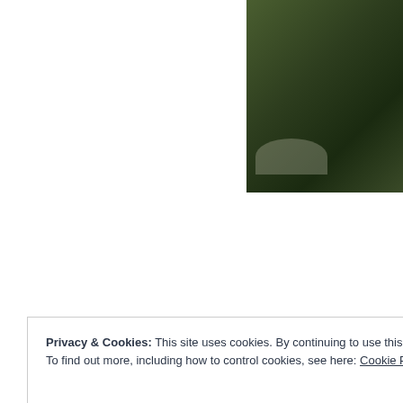[Figure (photo): Photograph of a green coconut or similar round green fruit/object on a surface, partially cropped, upper right area of the page]
Privacy & Cookies: This site uses cookies. By continuing to use this website, you agree to their use.
To find out more, including how to control cookies, see here: Cookie Policy
Close and accept
[Figure (photo): Partial photograph visible at bottom right, showing a textured surface]